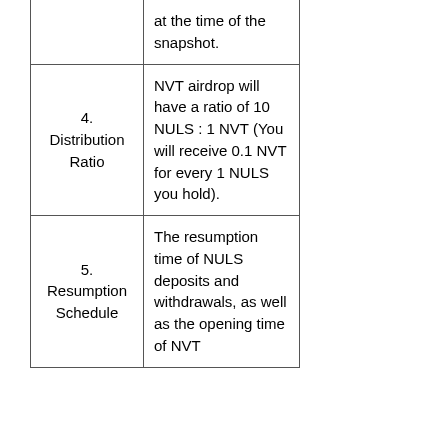| Item | Description |
| --- | --- |
|  | at the time of the snapshot. |
| 4. Distribution Ratio | NVT airdrop will have a ratio of 10 NULS : 1 NVT (You will receive 0.1 NVT for every 1 NULS you hold). |
| 5. Resumption Schedule | The resumption time of NULS deposits and withdrawals, as well as the opening time of NVT |